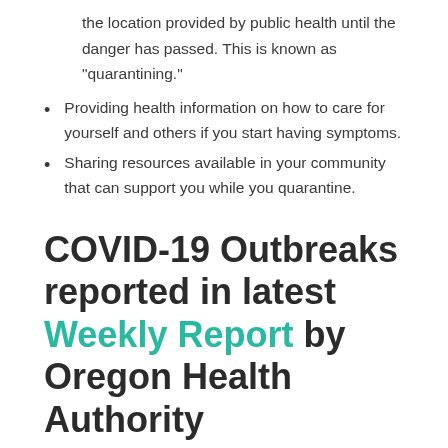the location provided by public health until the danger has passed. This is known as “quarantining.”
Providing health information on how to care for yourself and others if you start having symptoms.
Sharing resources available in your community that can support you while you quarantine.
COVID-19 Outbreaks reported in latest Weekly Report by Oregon Health Authority